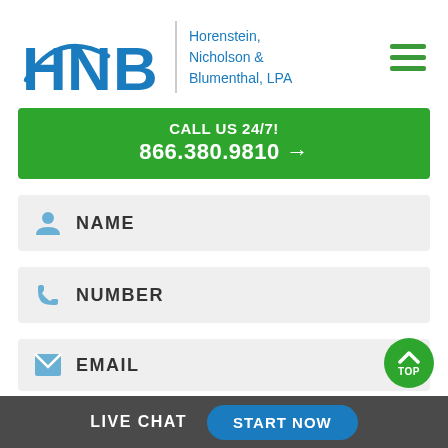[Figure (logo): HNB logo with large blue letters H, N, B and firm name 'Horenstein, Nicholson & Blumenthal, LPA' in blue, plus hamburger menu icon in green on the right]
CALL US 24/7!
866.380.9810 →
NAME
NUMBER
EMAIL
LIVE CHAT   START NOW